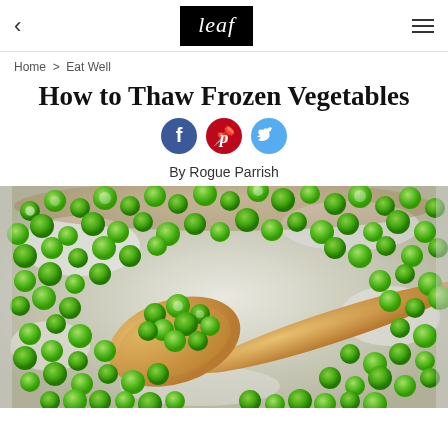leaf
Home > Eat Well
How to Thaw Frozen Vegetables
[Figure (other): Social sharing buttons: Facebook (blue circle), Pinterest (red circle), Twitter (light blue circle)]
By Rogue Parrish
[Figure (photo): Close-up photo of frozen green peas in a wooden bowl with a wooden spoon scooping peas, covered in frost/ice crystals]